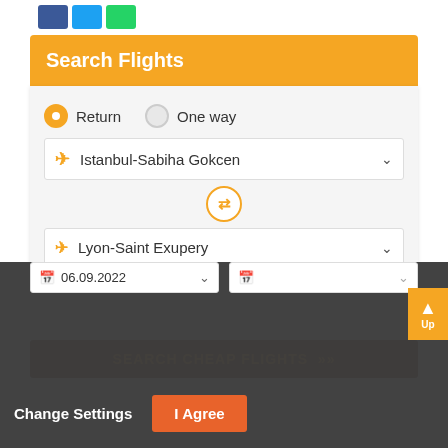[Figure (screenshot): Social sharing buttons: Facebook (blue), Twitter (light blue), WhatsApp (green)]
Search Flights
Return   One way
Istanbul-Sabiha Gokcen
Lyon-Saint Exupery
Departure date
Return date
06.09.2022
Passengers
1 Adult
SEARCH CHEAP FLIGHTS >>
We are using cookies to personalize and enhance your use of the Pegasus Website. By continuing to use our website without changing your cookie settings, you are agreeing to the use of cookies as set in the Pegasus Privacy Policy.
Change Settings
I Agree